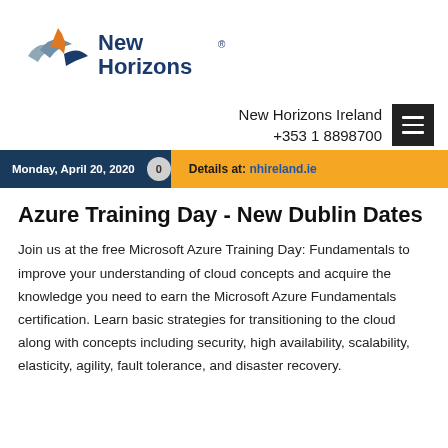[Figure (logo): New Horizons logo with stylized bird/wing icon in blue and orange, followed by 'New Horizons' text in dark blue with registered trademark symbol]
New Horizons Ireland
+353 1 8898700
[Figure (other): Dark square menu button with three horizontal white lines (hamburger menu icon)]
Monday, April 20, 2020  0  Details at:  nhireland.ie
Azure Training Day - New Dublin Dates
Join us at the free Microsoft Azure Training Day: Fundamentals to improve your understanding of cloud concepts and acquire the knowledge you need to earn the Microsoft Azure Fundamentals certification. Learn basic strategies for transitioning to the cloud along with concepts including security, high availability, scalability, elasticity, agility, fault tolerance, and disaster recovery.